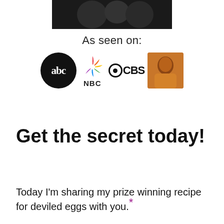[Figure (photo): Dark/black photo strip at the top center, appears to show people on a dark background]
As seen on:
[Figure (logo): Row of TV network logos: ABC (black circle with white abc text), NBC (colorful peacock with NBC text), CBS (eye logo with CBS text), and an Oprah Winfrey photo]
Get the secret today!
Today I'm sharing my prize winning recipe for deviled eggs with you.*